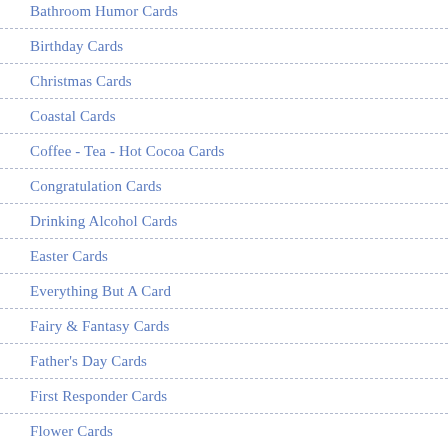Bathroom Humor Cards
Birthday Cards
Christmas Cards
Coastal Cards
Coffee - Tea - Hot Cocoa Cards
Congratulation Cards
Drinking Alcohol Cards
Easter Cards
Everything But A Card
Fairy & Fantasy Cards
Father's Day Cards
First Responder Cards
Flower Cards
Food Cards
Friendship Cards
Get Well Cards